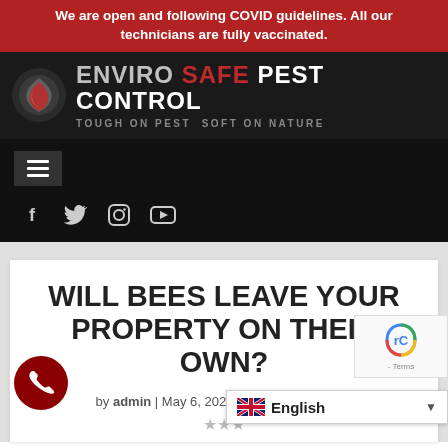We are open and following COVID guidelines. All our technicians are fully vaccinated.
[Figure (logo): Enviro Safe Pest Control logo with circular grey/red flame icon and text 'ENVIRO SAFE PEST CONTROL - TOUGH ON PEST SOFT ON NATURE' on dark background]
[Figure (screenshot): Dark navigation bar with hamburger menu icon and social media icons for Facebook, Twitter, Instagram, and YouTube]
WILL BEES LEAVE YOUR PROPERTY ON THEIR OWN?
by admin | May 6, 2021 | Bees, Pest Control